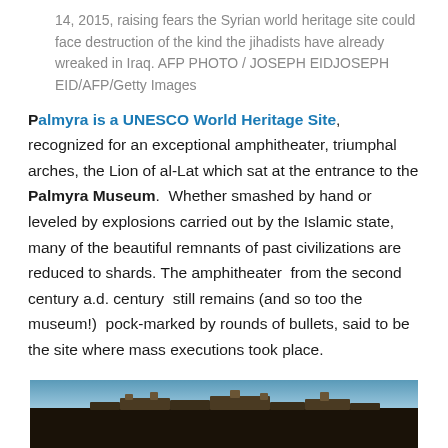14, 2015, raising fears the Syrian world heritage site could face destruction of the kind the jihadists have already wreaked in Iraq. AFP PHOTO / JOSEPH EIDJOSEPH EID/AFP/Getty Images
Palmyra is a UNESCO World Heritage Site, recognized for an exceptional amphitheater, triumphal arches, the Lion of al-Lat which sat at the entrance to the Palmyra Museum.  Whether smashed by hand or leveled by explosions carried out by the Islamic state, many of the beautiful remnants of past civilizations are reduced to shards. The amphitheater  from the second century a.d. century  still remains (and so too the museum!)  pock-marked by rounds of bullets, said to be the site where mass executions took place.
[Figure (photo): Bottom portion of a photo showing ancient ruins against a blue sky, appears to be stone columns or wall remnants at Palmyra]